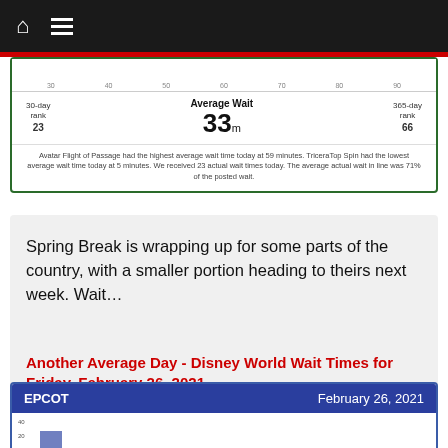Home | Menu
[Figure (other): Partial Disney park wait time stats card showing Average Wait 33, 30-day rank 23, 365-day rank 66, with footnote about Avatar Flight of Passage highest average wait at 59 minutes, TriceraTop Spin lowest at 5 minutes, 23 actual wait times received, average actual wait 71% of posted wait.]
Spring Break is wrapping up for some parts of the country, with a smaller portion heading to theirs next week. Wait…
Another Average Day - Disney World Wait Times for Friday, February 26, 2021
[Figure (bar-chart): EPCOT wait times bar chart for February 26, 2021 — partially visible, showing beginning of chart with one bar visible]